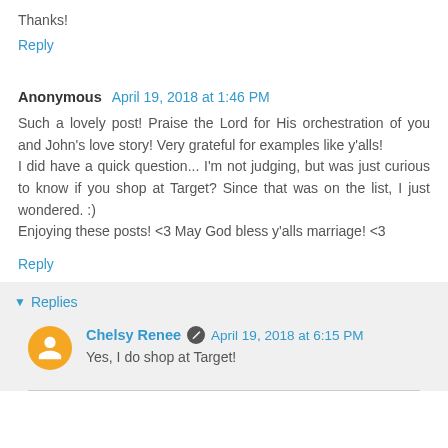Thanks!
Reply
Anonymous  April 19, 2018 at 1:46 PM
Such a lovely post! Praise the Lord for His orchestration of you and John's love story! Very grateful for examples like y'alls!
I did have a quick question... I'm not judging, but was just curious to know if you shop at Target? Since that was on the list, I just wondered. :)
Enjoying these posts! <3 May God bless y'alls marriage! <3
Reply
Replies
Chelsy Renee  April 19, 2018 at 6:15 PM
Yes, I do shop at Target!